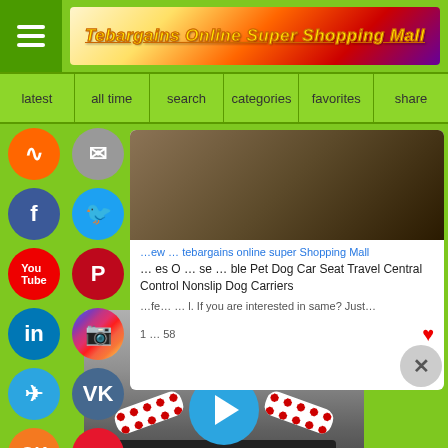Tebargains Online Super Shopping Mall
latest | all time | search | categories | favorites | share
[Figure (screenshot): Social media share icons: RSS, email, Facebook, Twitter, YouTube, Pinterest, LinkedIn, Instagram, Telegram, VK, Odnoklassniki, Weibo, WeChat]
[Figure (screenshot): Content card showing tebargains online super Shopping Mall product listing for Foldable Pet Dog Car Seat Travel Central Control Nonslip Dog Carriers]
Foldable Pet Dog Car Seat Travel Central Control Nonslip Dog Carriers. If you are interested in same? Just...
[Figure (photo): Video thumbnail showing a person with glasses wearing a dark polo shirt with a red polka dot scarf, with a play button overlay. Powered By VideoPal.io badge at bottom right.]